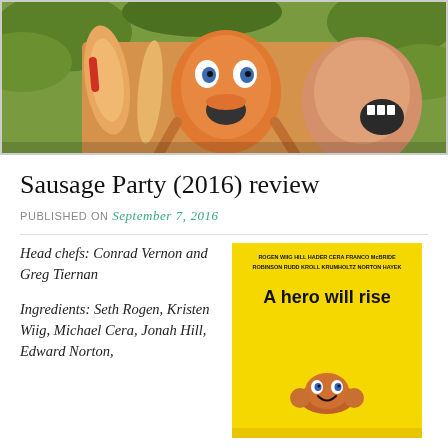[Figure (photo): Animated movie still from Sausage Party showing cartoon food characters with shocked expressions against a jungle background]
Sausage Party (2016) review
PUBLISHED ON September 7, 2016
Head chefs: Conrad Vernon and Greg Tiernan
Ingredients: Seth Rogen, Kristen Wiig, Michael Cera, Jonah Hill, Edward Norton,
[Figure (photo): Sausage Party movie poster with yellow background, cast names at top, tagline 'A hero will rise', and animated sausage character at bottom]